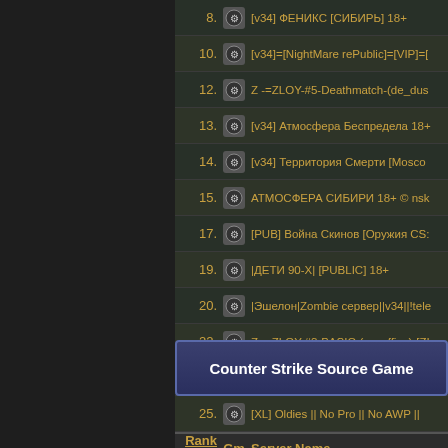| Rank | Gm | Server Name |
| --- | --- | --- |
| 8. |  | [v34] ФЕНИКС [СИБИРЬ] 18+ |
| 10. |  | [v34]=[NightMare rePublic]=[VIP]=[ |
| 12. |  | Z -=ZLOY-#5-Deathmatch-(de_dus |
| 13. |  | [v34] Атмосфера Беспредела 18+ |
| 14. |  | [v34] Территория Смерти [Mosco |
| 15. |  | АТМОСФЕРА СИБИРИ 18+ © nsk |
| 17. |  | [PUB] Война Скинов [Оружия CS: |
| 19. |  | |ДЕТИ 90-Х| [PUBLIC] 18+ |
| 20. |  | |Эшелон|Zombie сервер||v34||!tele |
| 22. |  | Z -=ZLOY-#3-BASIC-(cs_office)-[ZI |
| 24. |  | [v34]|ТИТАН|[Public] 18+ |
| 25. |  | [XL] Oldies || No Pro || No AWP || |
PREV  1  2  3  4
Counter Strike Source Game